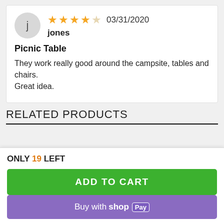j jones  ★★★★☆ 03/31/2020
Picnic Table
They work really good around the campsite, tables and chairs.
Great idea.
RELATED PRODUCTS
ONLY 19 LEFT
ADD TO CART
Buy with shop Pay